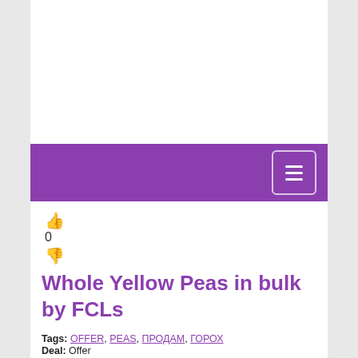[Figure (other): Purple navigation bar with hamburger menu button (three horizontal lines) on the right side]
👍
0
👎
Whole Yellow Peas in bulk by FCLs
Tags: OFFER, PEAS, ПРОДАМ, ГОРОХ
Deal: Offer